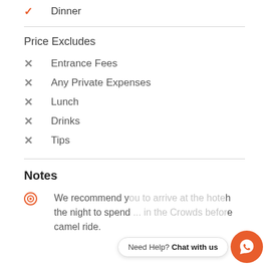✓ Dinner
Price Excludes
✗ Entrance Fees
✗ Any Private Expenses
✗ Lunch
✗ Drinks
✗ Tips
Notes
We recommend y... h the night to spend ... in the Crowds before camel ride.